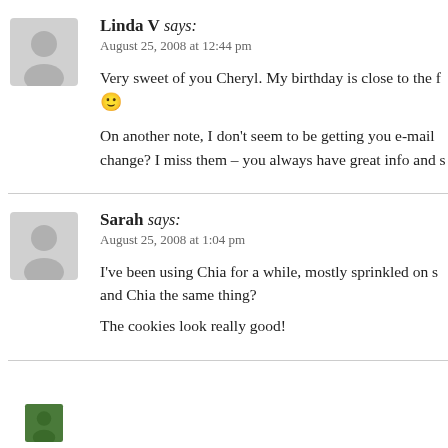Linda V says: August 25, 2008 at 12:44 pm
Very sweet of you Cheryl. My birthday is close to the f 🙂
On another note, I don't seem to be getting you e-mail change? I miss them – you always have great info and s
Sarah says: August 25, 2008 at 1:04 pm
I've been using Chia for a while, mostly sprinkled on s and Chia the same thing?
The cookies look really good!